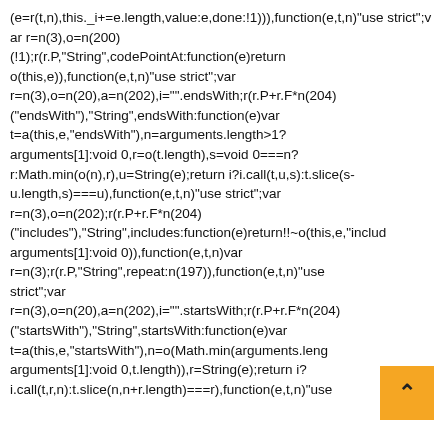(e=r(t,n),this._i+=e.length,value:e,done:!1))),function(e,t,n)"use strict";var r=n(3),o=n(200)(!1);r(r.P,"String",codePointAt:function(e)return o(this,e)),function(e,t,n)"use strict";var r=n(3),o=n(20),a=n(202),i="".endsWith;r(r.P+r.F*n(204)("endsWith"),"String",endsWith:function(e)var t=a(this,e,"endsWith"),n=arguments.length>1?arguments[1]:void 0,r=o(t.length),s=void 0===n?r:Math.min(o(n),r),u=String(e);return i?i.call(t,u,s):t.slice(s-u.length,s)===u),function(e,t,n)"use strict";var r=n(3),o=n(202);r(r.P+r.F*n(204)("includes"),"String",includes:function(e)return!!~o(this,e,"includes",arguments[1]:void 0)),function(e,t,n)var r=n(3);r(r.P,"String",repeat:n(197)),function(e,t,n)"use strict";var r=n(3),o=n(20),a=n(202),i="".startsWith;r(r.P+r.F*n(204)("startsWith"),"String",startsWith:function(e)var t=a(this,e,"startsWith"),n=o(Math.min(arguments.length>1?arguments[1]:void 0,t.length)),r=String(e);return i?i.call(t,r,n):t.slice(n,n+r.length)===r),function(e,t,n)"use